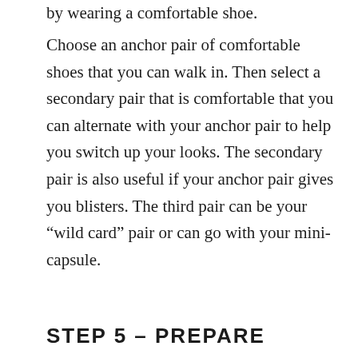by wearing a comfortable shoe.
Choose an anchor pair of comfortable shoes that you can walk in. Then select a secondary pair that is comfortable that you can alternate with your anchor pair to help you switch up your looks. The secondary pair is also useful if your anchor pair gives you blisters. The third pair can be your “wild card” pair or can go with your mini-capsule.
STEP 5 – PREPARE